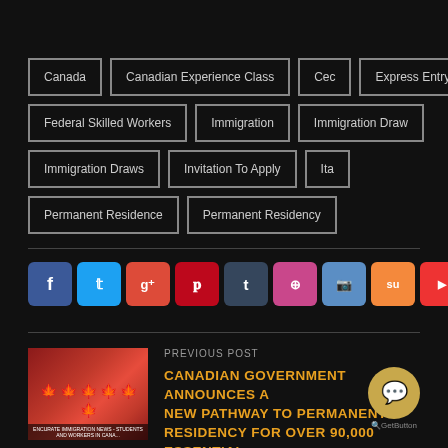Canada
Canadian Experience Class
Cec
Express Entry
Federal Skilled Workers
Immigration
Immigration Draw
Immigration Draws
Invitation To Apply
Ita
Permanent Residence
Permanent Residency
[Figure (infographic): Social media share buttons: Facebook, Twitter, Google+, Pinterest, Tumblr, Dribbble, Instagram, StumbleUpon, YouTube, Share]
[Figure (photo): Thumbnail image of people holding Canadian flags with maple leaves, with text ENCURATE IMMIGRATION NEWS - STUDENTS AND WORKERS IN CANADA]
PREVIOUS POST
CANADIAN GOVERNMENT ANNOUNCES NEW PATHWAY TO PERMANENT RESIDENCY FOR OVER 90,000 ESSENTIAL